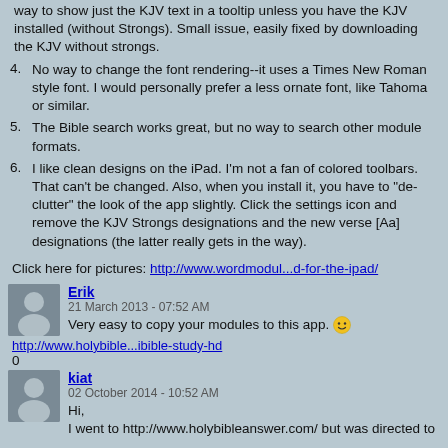way to show just the KJV text in a tooltip unless you have the KJV installed (without Strongs). Small issue, easily fixed by downloading the KJV without strongs.
4. No way to change the font rendering--it uses a Times New Roman style font. I would personally prefer a less ornate font, like Tahoma or similar.
5. The Bible search works great, but no way to search other module formats.
6. I like clean designs on the iPad. I'm not a fan of colored toolbars. That can't be changed. Also, when you install it, you have to "de-clutter" the look of the app slightly. Click the settings icon and remove the KJV Strongs designations and the new verse [Aa] designations (the latter really gets in the way).
Click here for pictures: http://www.wordmodul...d-for-the-ipad/
Erik
21 March 2013 - 07:52 AM
Very easy to copy your modules to this app. :)
http://www.holybible...ibible-study-hd
0
kiat
02 October 2014 - 10:52 AM
Hi,
I went to http://www.holybibleanswer.com/ but was directed to